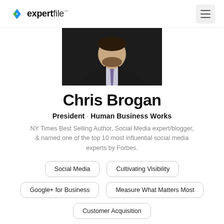expertfile
[Figure (photo): Cropped photo of Chris Brogan, a man in a dark suit and tie, shown from shoulders up.]
Chris Brogan
President · Human Business Works
NY Times Best Selling Author, Social Media expert/blogger, & named one of the top 10 most influential social media experts by Forbes.
Social Media
Cultivating Visibility
Google+ for Business
Measure What Matters Most
Customer Acquisition